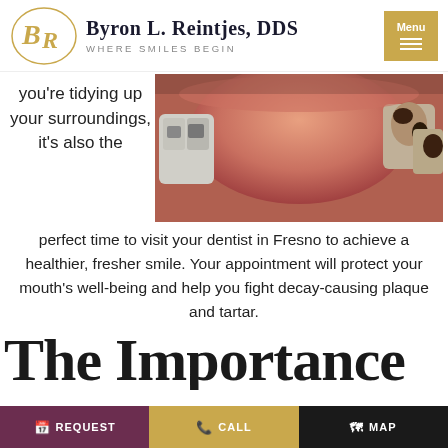Byron L. Reintjes, DDS — WHERE SMILES BEGIN
[Figure (photo): Close-up dental photograph showing upper teeth with decay and metal fillings]
you're tidying up your surroundings, it's also the perfect time to visit your dentist in Fresno to achieve a healthier, fresher smile. Your appointment will protect your mouth's well-being and help you fight decay-causing plaque and tartar.
The Importance
REQUEST   CALL   MAP